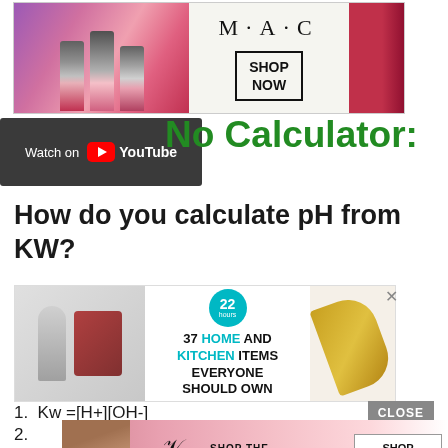[Figure (photo): MAC cosmetics advertisement banner with colorful lipsticks and SHOP NOW button]
[Figure (screenshot): YouTube Watch on button and 'No Calculator' text in green handwriting style]
How do you calculate pH from KW?
[Figure (photo): Advertisement: 37 Home and Kitchen Items Everyone Should Own with product images]
1. Kw =[H+][OH-]
2.
3.
[Figure (photo): Victoria's Secret advertisement with model and SHOP THE COLLECTION / SHOP NOW button]